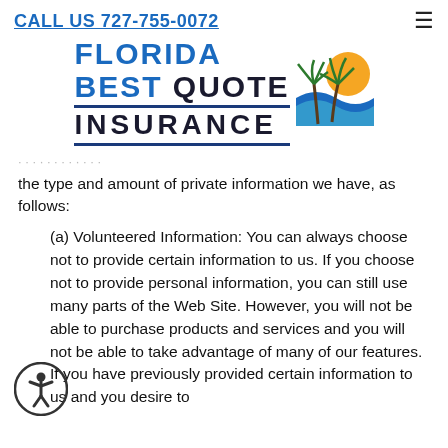CALL US 727-755-0072
[Figure (logo): Florida Best Quote Insurance logo with palm trees, sun, and ocean waves graphic]
the type and amount of private information we have, as follows:
(a) Volunteered Information: You can always choose not to provide certain information to us. If you choose not to provide personal information, you can still use many parts of the Web Site. However, you will not be able to purchase products and services and you will not be able to take advantage of many of our features. If you have previously provided certain information to us and you desire to